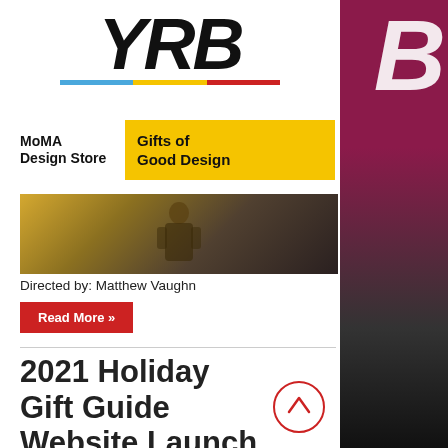[Figure (logo): YRB magazine logo in large italic bold black text with a tricolor underline (blue, yellow, red)]
[Figure (other): MoMA Design Store advertisement banner — MoMA Design Store logo on left, yellow background panel on right reading Gifts of Good Design]
[Figure (photo): Movie promotional banner image showing a figure (directed by Matthew Vaughn)]
Directed by: Matthew Vaughn
Read More »
2021 Holiday Gift Guide Website Launch